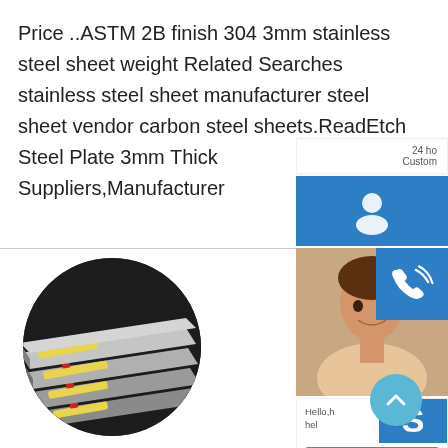Price ..ASTM 2B finish 304 3mm stainless steel sheet weight Related Searches stainless steel sheet manufacturer steel sheet vendor carbon steel sheets.ReadEtch Steel Plate 3mm Thick Suppliers,Manufacturer
[Figure (photo): Circular cropped photo of stacked steel plates with yellow labels, arranged in a pile on dark background]
[Figure (screenshot): Website UI sidebar showing: 24-hour customer service icon (blue button with headset icon), phone/call icon (blue button with phone icon), person image, Skype chat panel with 'Hello, h... hel...' text and blue Skype icon, orange 'Chat Now' button, and a teal scroll-to-top circle button with up arrow]